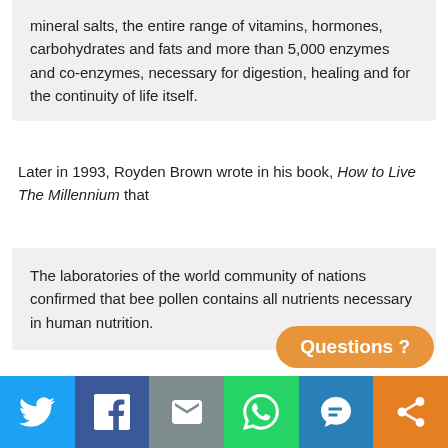mineral salts, the entire range of vitamins, hormones, carbohydrates and fats and more than 5,000 enzymes and co-enzymes, necessary for digestion, healing and for the continuity of life itself.
Later in 1993, Royden Brown wrote in his book, How to Live The Millennium that
The laboratories of the world community of nations confirmed that bee pollen contains all nutrients necessary in human nutrition.
Of course, Brown with his partners later paid $200,000 of settlement charges of misrepresentation of their bee pollen products as able to cause weight loss, decrease allergies, slow aging, and improve sexual dysfunction.
The United Nations's Food and Agr...